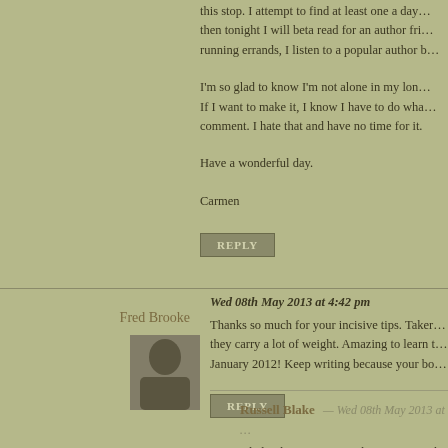this stop. I attempt to find at least one a day… then tonight I will beta read for an author fri… running errands, I listen to a popular author b…
I'm so glad to know I'm not alone in my lon… If I want to make it, I know I have to do wha… comment. I hate that and have no time for it.
Have a wonderful day.
Carmen
REPLY
Fred Brooke
[Figure (photo): Avatar photo of Fred Brooke]
Wed 08th May 2013 at 4:42 pm
Thanks so much for your incisive tips. Taker… they carry a lot of weight. Amazing to learn t… January 2012! Keep writing because your bo…
REPLY
Russell Blake — Wed 08th May 2013 at …
Glad to hear you enjoy them. Yup. Took … $10K of covers and editing, and that on…